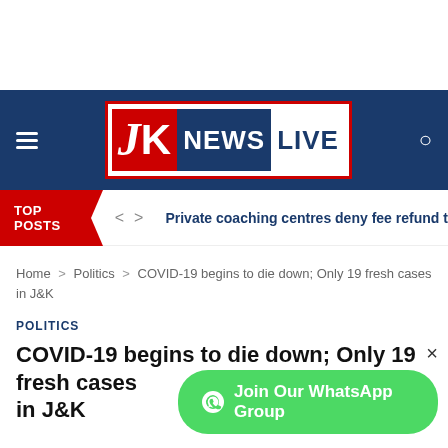[Figure (logo): JK News Live website logo in navigation bar]
TOP POSTS
Private coaching centres deny fee refund to students
Home > Politics > COVID-19 begins to die down; Only 19 fresh cases in J&K
POLITICS
COVID-19 begins to die down; Only 19 fresh cases in J&K
Join Our WhatsApp Group